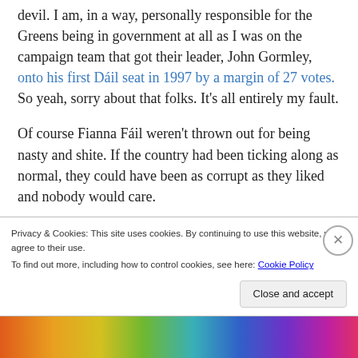devil. I am, in a way, personally responsible for the Greens being in government at all as I was on the campaign team that got their leader, John Gormley, onto his first Dáil seat in 1997 by a margin of 27 votes. So yeah, sorry about that folks. It's all entirely my fault.
Of course Fianna Fáil weren't thrown out for being nasty and shite. If the country had been ticking along as normal, they could have been as corrupt as they liked and nobody would care.
Privacy & Cookies: This site uses cookies. By continuing to use this website, you agree to their use. To find out more, including how to control cookies, see here: Cookie Policy
Close and accept